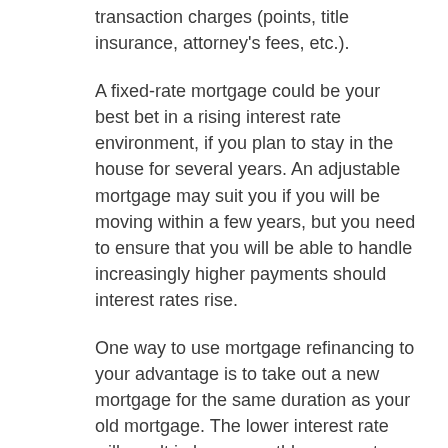transaction charges (points, title insurance, attorney's fees, etc.).
A fixed-rate mortgage could be your best bet in a rising interest rate environment, if you plan to stay in the house for several years. An adjustable mortgage may suit you if you will be moving within a few years, but you need to ensure that you will be able to handle increasingly higher payments should interest rates rise.
One way to use mortgage refinancing to your advantage is to take out a new mortgage for the same duration as your old mortgage. The lower interest rate will result in lower monthly payments.
For example, if you took out a $150,000 30-year fixed-rate mortgage at 7.5 percent (including transaction charges), your monthly payment is now $1,049. Refinance at 6 percent with a 30-year fixed-rate mortgage of $150,000 (including transaction